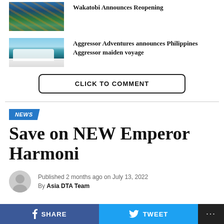[Figure (photo): Underwater coral reef scene with colorful fish]
Wakatobi Announces Reopening
[Figure (photo): A large cruise/dive boat on blue water with tropical islands in background]
Aggressor Adventures announces Philippines Aggressor maiden voyage
CLICK TO COMMENT
NEWS
Save on NEW Emperor Harmoni
Published 2 months ago on July 13, 2022
By Asia DTA Team
SHARE   TWEET   ...